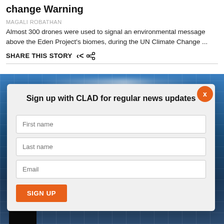Change Warning
MAGALI ROBATHAN
Almost 300 drones were used to signal an environmental message above the Eden Project's biomes, during the UN Climate Change ...
SHARE THIS STORY
[Figure (photo): Night photo of illuminated building with grid-like facade and bright light streaks, person silhouette in foreground]
Sign up with CLAD for regular news updates
First name
Last name
Email
SIGN UP